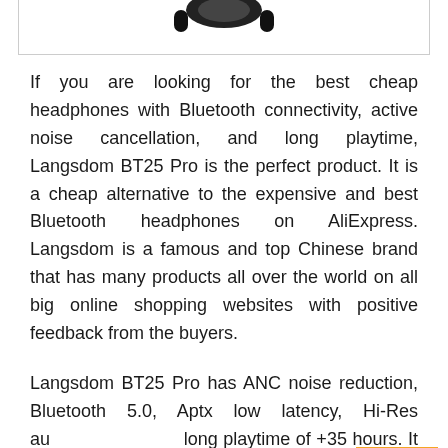[Figure (photo): Partial view of headphones (Langsdom BT25 Pro) shown at top of page inside a bordered box]
If you are looking for the best cheap headphones with Bluetooth connectivity, active noise cancellation, and long playtime, Langsdom BT25 Pro is the perfect product. It is a cheap alternative to the expensive and best Bluetooth headphones on AliExpress. Langsdom is a famous and top Chinese brand that has many products all over the world on all big online shopping websites with positive feedback from the buyers.
Langsdom BT25 Pro has ANC noise reduction, Bluetooth 5.0, Aptx low latency, Hi-Res aud long playtime of +35 hours. It produces a bass and high definition sound with its 40mm NdFeB